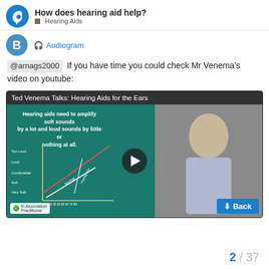How does hearing aid help? | Hearing Aids
Audiogram
@arnags2000 If you have time you could check Mr Venema's video on youtube:
[Figure (screenshot): Video thumbnail titled 'Ted Venema Talks: Hearing Aids for the Ears' showing a man pointing at a board with text 'Hearing aids need to amplify soft sounds by a lot and loud sounds by little or nothing at all.' and a chart with lines labeled Normal and Hearing loss, with a play button overlay. An 'In Association Practitioner' badge and a blue Back button are visible.]
2 / 37